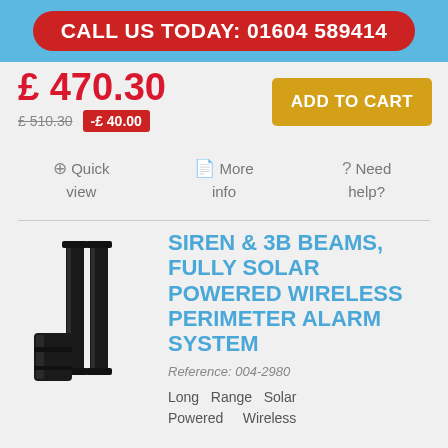CALL US TODAY: 01604 589414
£ 470.30
£ 510.30  -£ 40.00
ADD TO CART
Quick view   More info   Need help?
[Figure (photo): Product photo: two tall black pillar sensors and a small black device for a solar-powered wireless perimeter alarm system]
SIREN & 3B BEAMS, FULLY SOLAR POWERED WIRELESS PERIMETER ALARM SYSTEM
Reference: 004-2980
Long Range Solar Powered Wireless